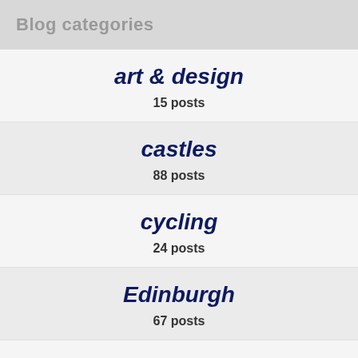Blog categories
art & design
15 posts
castles
88 posts
cycling
24 posts
Edinburgh
67 posts
Edinburgh Festival